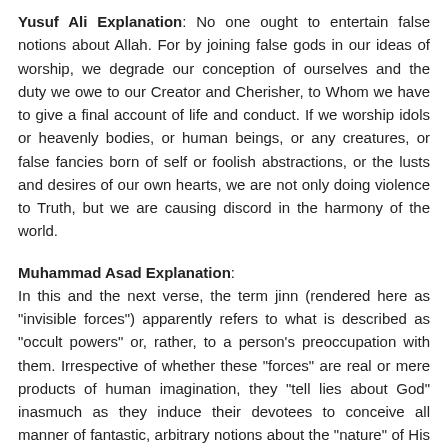Yusuf Ali Explanation: No one ought to entertain false notions about Allah. For by joining false gods in our ideas of worship, we degrade our conception of ourselves and the duty we owe to our Creator and Cherisher, to Whom we have to give a final account of life and conduct. If we worship idols or heavenly bodies, or human beings, or any creatures, or false fancies born of self or foolish abstractions, or the lusts and desires of our own hearts, we are not only doing violence to Truth, but we are causing discord in the harmony of the world.
Muhammad Asad Explanation: In this and the next verse, the term jinn (rendered here as "invisible forces") apparently refers to what is described as "occult powers" or, rather, to a person's preoccupation with them. Irrespective of whether these "forces" are real or mere products of human imagination, they "tell lies about God" inasmuch as they induce their devotees to conceive all manner of fantastic, arbitrary notions about the "nature" of His Being and of His alleged relations with the created universe: notions exemplified in all mystery-religions, in the various gnostic and theosophical systems, in cabalistic